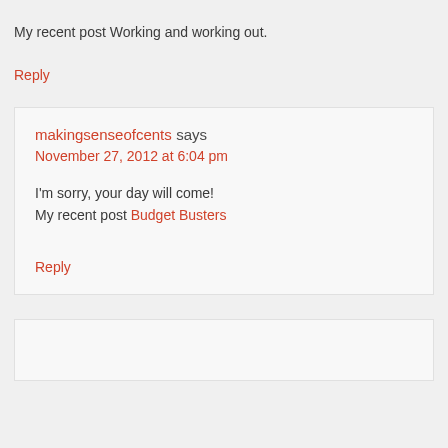My recent post Working and working out.
Reply
makingsenseofcents says
November 27, 2012 at 6:04 pm
I'm sorry, your day will come!
My recent post Budget Busters
Reply